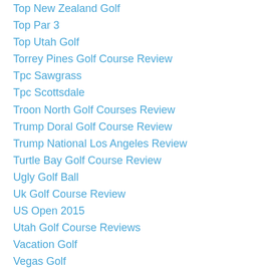Top New Zealand Golf
Top Par 3
Top Utah Golf
Torrey Pines Golf Course Review
Tpc Sawgrass
Tpc Scottsdale
Troon North Golf Courses Review
Trump Doral Golf Course Review
Trump National Los Angeles Review
Turtle Bay Golf Course Review
Ugly Golf Ball
Uk Golf Course Review
US Open 2015
Utah Golf Course Reviews
Vacation Golf
Vegas Golf
Vellano Country Club Golf Review
Ventura Golf Coursereview
Ventura Golf Course Review
Victoria Lakes Golf